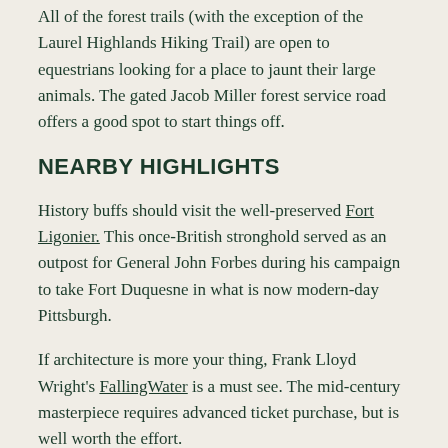All of the forest trails (with the exception of the Laurel Highlands Hiking Trail) are open to equestrians looking for a place to jaunt their large animals. The gated Jacob Miller forest service road offers a good spot to start things off.
NEARBY HIGHLIGHTS
History buffs should visit the well-preserved Fort Ligonier. This once-British stronghold served as an outpost for General John Forbes during his campaign to take Fort Duquesne in what is now modern-day Pittsburgh.
If architecture is more your thing, Frank Lloyd Wright's FallingWater is a must see. The mid-century masterpiece requires advanced ticket purchase, but is well worth the effort.
The Powdermill Nature Reserve has wildlife and ecology exhibits, and is a functioning environmental research center funded by the Carnegie Museum of Natural History. Bonus: It's